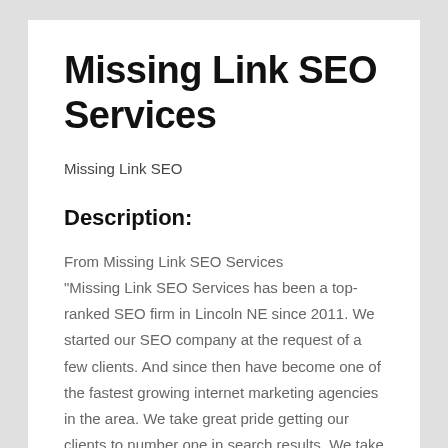Missing Link SEO Services
Missing Link SEO
Description:
From Missing Link SEO Services
"Missing Link SEO Services has been a top-ranked SEO firm in Lincoln NE since 2011. We started our SEO company at the request of a few clients. And since then have become one of the fastest growing internet marketing agencies in the area. We take great pride getting our clients to number one in search results. We take a proven method that just works. From optimizing your site to gaining link out reach, we can